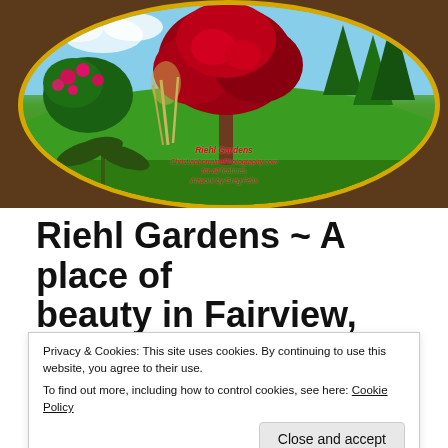[Figure (photo): Oval-framed garden painting showing a red-leafed tree in the center, green lawn, flowering shrubs, evergreen trees, set in a gold oval frame against a brown blurred background. Photo credit text: Riehl Gardens, ChristianLorrainePhotography.com, for all features, Artwork by Greg Felix]
Riehl Gardens ~ A place of beauty in Fairview, PA:
Privacy & Cookies: This site uses cookies. By continuing to use this website, you agree to their use.
To find out more, including how to control cookies, see here: Cookie Policy
slogan for this former business because it truly